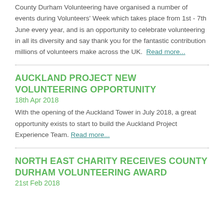County Durham Volunteering have organised a number of events during Volunteers' Week which takes place from 1st - 7th June every year, and is an opportunity to celebrate volunteering in all its diversity and say thank you for the fantastic contribution millions of volunteers make across the UK.  Read more...
AUCKLAND PROJECT NEW VOLUNTEERING OPPORTUNITY
18th Apr 2018
With the opening of the Auckland Tower in July 2018, a great opportunity exists to start to build the Auckland Project Experience Team. Read more...
NORTH EAST CHARITY RECEIVES COUNTY DURHAM VOLUNTEERING AWARD
21st Feb 2018